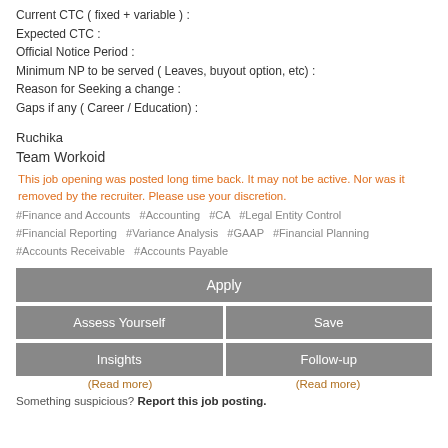Current CTC ( fixed + variable ) :
Expected CTC :
Official Notice Period :
Minimum NP to be served ( Leaves, buyout option, etc) :
Reason for Seeking a change :
Gaps if any ( Career / Education) :
Ruchika
Team Workoid
This job opening was posted long time back. It may not be active. Nor was it removed by the recruiter. Please use your discretion.
#Finance and Accounts  #Accounting  #CA  #Legal Entity Control  #Financial Reporting  #Variance Analysis  #GAAP  #Financial Planning  #Accounts Receivable  #Accounts Payable
Apply
Assess Yourself
Save
Insights
Follow-up
(Read more)
(Read more)
Something suspicious? Report this job posting.